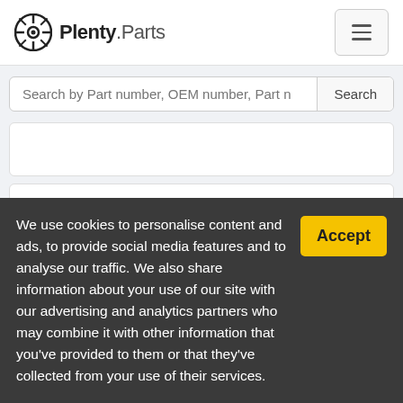Plenty.Parts
Search by Part number, OEM number, Part n
Information
We use cookies to personalise content and ads, to provide social media features and to analyse our traffic. We also share information about your use of our site with our advertising and analytics partners who may combine it with other information that you've provided to them or that they've collected from your use of their services.